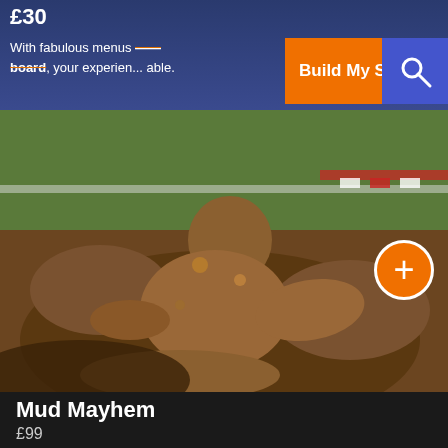£30 With fabulous menus ... fection acro... your experien... able.
Build My Stag Party →
[Figure (photo): Person completely covered in mud, sitting in a large mud pit, wearing a motorcycle helmet, with a dirt bike partially visible. Green grass and red-and-white barrier tape visible in background.]
Mud Mayhem
£99